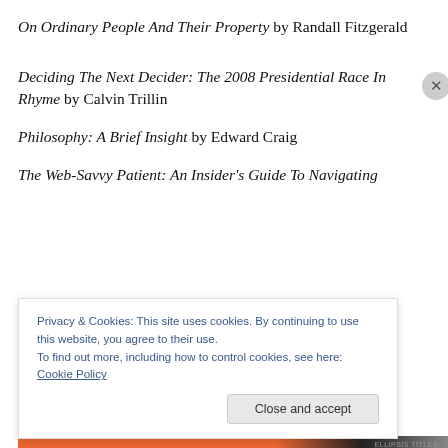On Ordinary People And Their Property by Randall Fitzgerald
Deciding The Next Decider: The 2008 Presidential Race In Rhyme by Calvin Trillin
Philosophy: A Brief Insight by Edward Craig
The Web-Savvy Patient: An Insider's Guide To Navigating
Privacy & Cookies: This site uses cookies. By continuing to use this website, you agree to their use.
To find out more, including how to control cookies, see here: Cookie Policy
Close and accept